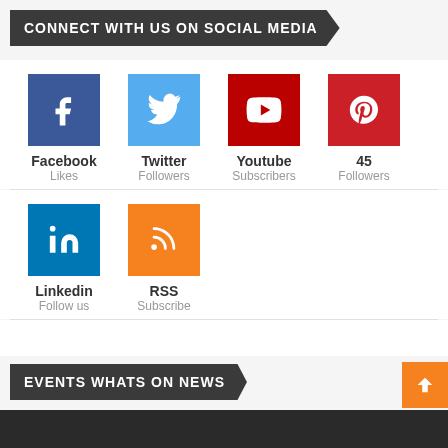CONNECT WITH US ON SOCIAL MEDIA
[Figure (infographic): Social media icons: Facebook (Likes), Twitter (Followers), Youtube (Subscribers), 45 Followers (Pinterest), Linkedin (Follow us), RSS (Subscribe)]
EVENTS WHATS ON NEWS